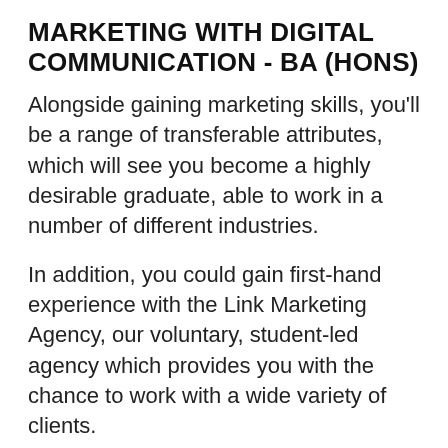MARKETING WITH DIGITAL COMMUNICATION - BA (HONS)
Alongside gaining marketing skills, you'll be a range of transferable attributes, which will see you become a highly desirable graduate, able to work in a number of different industries.
In addition, you could gain first-hand experience with the Link Marketing Agency, our voluntary, student-led agency which provides you with the chance to work with a wide variety of clients.
EXPLORE THIS COURSE
site you agree to this, or visit our cookie policy to manage your settings.